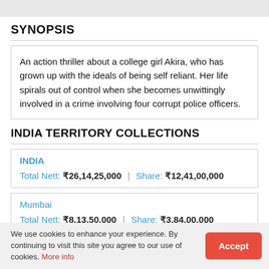SYNOPSIS
An action thriller about a college girl Akira, who has grown up with the ideals of being self reliant. Her life spirals out of control when she becomes unwittingly involved in a crime involving four corrupt police officers.
INDIA TERRITORY COLLECTIONS
| Region | Total Nett | Share |
| --- | --- | --- |
| INDIA | ₹26,14,25,000 | ₹12,41,00,000 |
| Mumbai | ₹8,13,50,000 | ₹3,84,00,000 |
We use cookies to enhance your experience. By continuing to visit this site you agree to our use of cookies. More info